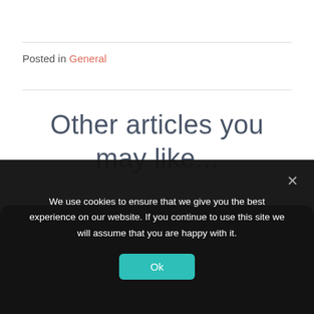Posted in General
Other articles you may like...
We use cookies to ensure that we give you the best experience on our website. If you continue to use this site we will assume that you are happy with it.